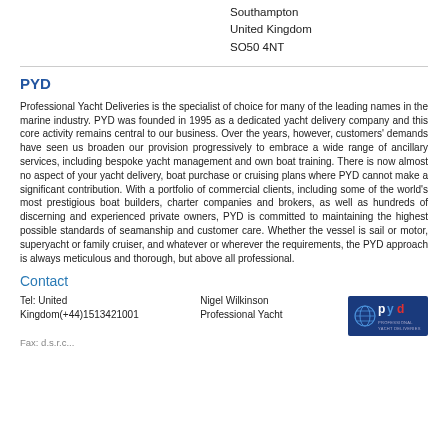Southampton
United Kingdom
SO50 4NT
PYD
Professional Yacht Deliveries is the specialist of choice for many of the leading names in the marine industry. PYD was founded in 1995 as a dedicated yacht delivery company and this core activity remains central to our business. Over the years, however, customers' demands have seen us broaden our provision progressively to embrace a wide range of ancillary services, including bespoke yacht management and own boat training. There is now almost no aspect of your yacht delivery, boat purchase or cruising plans where PYD cannot make a significant contribution. With a portfolio of commercial clients, including some of the world's most prestigious boat builders, charter companies and brokers, as well as hundreds of discerning and experienced private owners, PYD is committed to maintaining the highest possible standards of seamanship and customer care. Whether the vessel is sail or motor, superyacht or family cruiser, and whatever or wherever the requirements, the PYD approach is always meticulous and thorough, but above all professional.
Contact
Tel: United Kingdom(+44)1513421001
Nigel Wilkinson
Professional Yacht Deliveries Ltd
[Figure (logo): PYD Professional Yacht Deliveries logo on dark blue background]